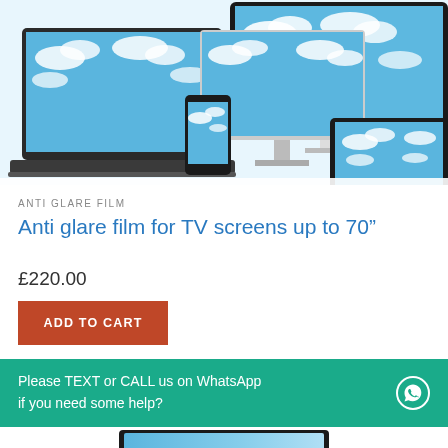[Figure (photo): Product image showing multiple devices (laptop, desktop monitor, smartphone, tablet) each displaying a blue sky with clouds background.]
ANTI GLARE FILM
Anti glare film for TV screens up to 70"
£220.00
ADD TO CART
Please TEXT or CALL us on WhatsApp if you need some help?
[Figure (photo): Partial view of a tablet/monitor device showing a blue sky with clouds, cropped at bottom of page.]